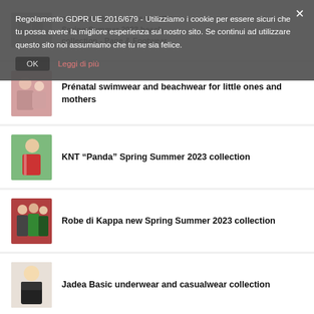conquers the summer with the Spring Summer 2023 beach collection - Page & Footwear
[Figure (photo): Thumbnail for Prenatal article - children and mothers in swimwear/beachwear]
Prénatal swimwear and beachwear for little ones and mothers
[Figure (photo): Thumbnail for KNT Panda article - young man in red jacket against green background]
KNT “Panda” Spring Summer 2023 collection
[Figure (photo): Thumbnail for Robe di Kappa article - group of people in sportswear]
Robe di Kappa new Spring Summer 2023 collection
[Figure (photo): Thumbnail for Jadea Basic article - blonde woman in black underwear]
Jadea Basic underwear and casualwear collection
[Figure (photo): Thumbnail for Idivinity article - partial circular image]
Idivinity the accessory to be who we
Regolamento GDPR UE 2016/679 - Utilizziamo i cookie per essere sicuri che tu possa avere la migliore esperienza sul nostro sito. Se continui ad utilizzare questo sito noi assumiamo che tu ne sia felice.
OK   Leggi di più